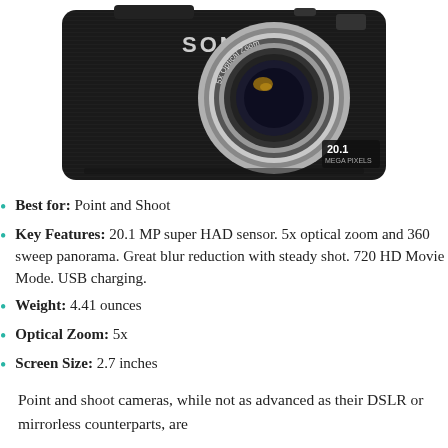[Figure (photo): Sony point-and-shoot digital camera, black body with silver lens showing '5x Optical Zoom' and '20.1 Megapixels' markings]
Best for: Point and Shoot
Key Features: 20.1 MP super HAD sensor. 5x optical zoom and 360 sweep panorama. Great blur reduction with steady shot. 720 HD Movie Mode. USB charging.
Weight: 4.41 ounces
Optical Zoom: 5x
Screen Size: 2.7 inches
Point and shoot cameras, while not as advanced as their DSLR or mirrorless counterparts, are